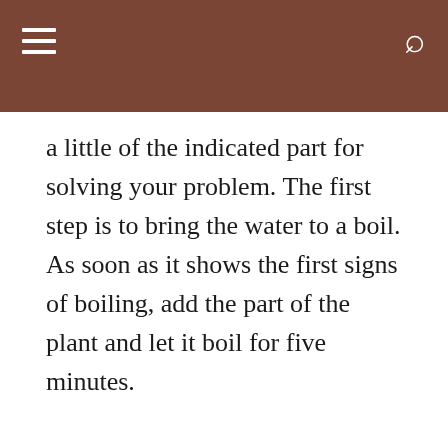a little of the indicated part for solving your problem. The first step is to bring the water to a boil. As soon as it shows the first signs of boiling, add the part of the plant and let it boil for five minutes.